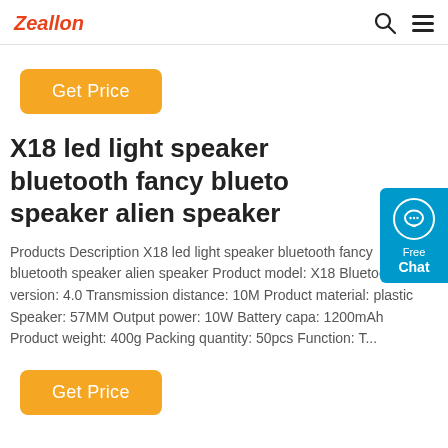Zeallon
[Figure (logo): Orange 'Get Price' button]
[Figure (other): Blue chat widget with speech bubble icon, 'Free Chat' text]
X18 led light speaker bluetooth fancy bluetooth speaker alien speaker
Products Description X18 led light speaker bluetooth fancy bluetooth speaker alien speaker Product model: X18 Bluetooth version: 4.0 Transmission distance: 10M Product material: plastic Speaker: 57MM Output power: 10W Battery capa: 1200mAh Product weight: 400g Packing quantity: 50pcs Function: T...
[Figure (other): Orange 'Get Price' button at bottom]